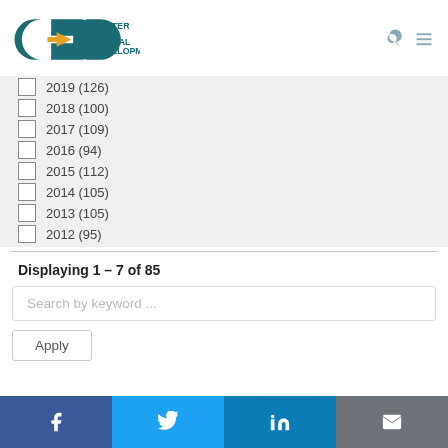CENTER FOR GLOBAL DEVELOPMENT
2019 (126)
2018 (100)
2017 (109)
2016 (94)
2015 (112)
2014 (105)
2013 (105)
2012 (95)
Displaying 1 - 7 of 85
Search by keyword ...
Apply